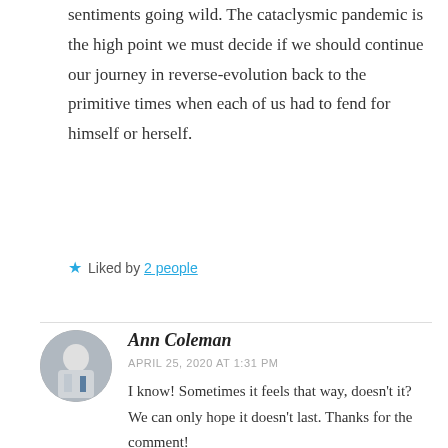sentiments going wild. The cataclysmic pandemic is the high point we must decide if we should continue our journey in reverse-evolution back to the primitive times when each of us had to fend for himself or herself.
★ Liked by 2 people
Ann Coleman
APRIL 25, 2020 AT 1:31 PM
I know! Sometimes it feels that way, doesn't it? We can only hope it doesn't last. Thanks for the comment!